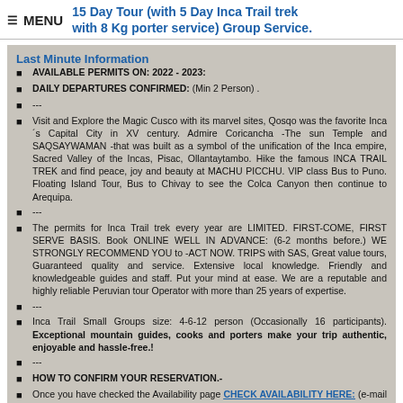≡ MENU
15 Day Tour (with 5 Day Inca Trail trek with 8 Kg porter service) Group Service.
Last Minute Information
AVAILABLE PERMITS ON: 2022 - 2023:
DAILY DEPARTURES CONFIRMED: (Min 2 Person) .
---
Visit and Explore the Magic Cusco with its marvel sites, Qosqo was the favorite Inca´s Capital City in XV century. Admire Coricancha -The sun Temple and SAQSAYWAMAN -that was built as a symbol of the unification of the Inca empire, Sacred Valley of the Incas, Pisac, Ollantaytambo. Hike the famous INCA TRAIL TREK and find peace, joy and beauty at MACHU PICCHU. VIP class Bus to Puno. Floating Island Tour, Bus to Chivay to see the Colca Canyon then continue to Arequipa.
---
The permits for Inca Trail trek every year are LIMITED. FIRST-COME, FIRST SERVE BASIS. Book ONLINE WELL IN ADVANCE: (6-2 months before.) WE STRONGLY RECOMMEND YOU to -ACT NOW. TRIPS with SAS, Great value tours, Guaranteed quality and service. Extensive local knowledge. Friendly and knowledgeable guides and staff. Put your mind at ease. We are a reputable and highly reliable Peruvian tour Operator with more than 25 years of expertise.
---
Inca Trail Small Groups size: 4-6-12 person (Occasionally 16 participants). Exceptional mountain guides, cooks and porters make your trip authentic, enjoyable and hassle-free.!
---
HOW TO CONFIRM YOUR RESERVATION.-
Once you have checked the Availability page CHECK AVAILABILITY HERE: (e-mail contact or contact one of our staff), Select the date departure of your Tour on the Calendar. (Day 1 is the date of your arrival to Cusco). Please ensure that you provide